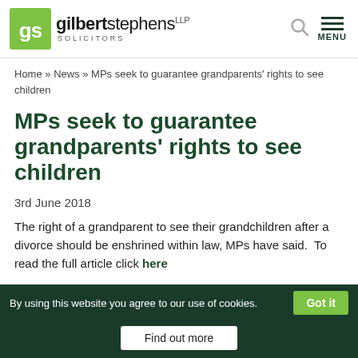gilbert stephens LLP SOLICITORS
Home » News » MPs seek to guarantee grandparents' rights to see children
MPs seek to guarantee grandparents' rights to see children
3rd June 2018
The right of a grandparent to see their grandchildren after a divorce should be enshrined within law, MPs have said.  To read the full article click here